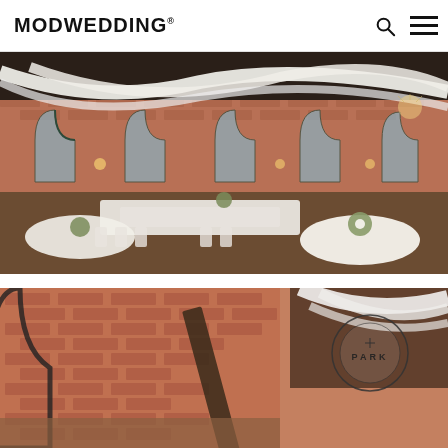MODWEDDING®
[Figure (photo): Wedding reception venue interior with brick walls, arched windows, white draped fabric ceiling, round and long tables set with white linens and floral centerpieces, white chiavari chairs]
[Figure (photo): Close-up detail of the same venue showing brick wall and white fabric draping from ceiling, partial circular logo overlay reading PARK]